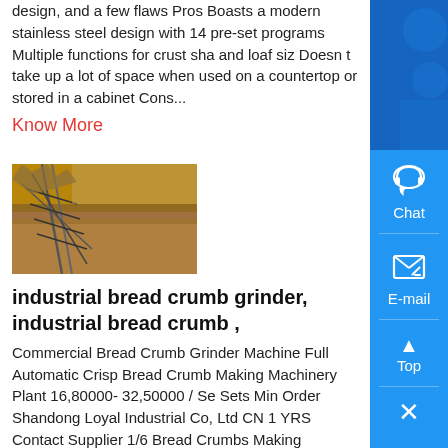design, and a few flaws Pros Boasts a modern stainless steel design with 14 pre-set programs Multiple functions for crust sha and loaf siz Doesn t take up a lot of space when used on a countertop or stored in a cabinet Cons...
Know More
[Figure (photo): Aerial view of an industrial site with brown muddy water and mining/industrial structures]
industrial bread crumb grinder, industrial bread crumb ,
Commercial Bread Crumb Grinder Machine Full Automatic Crisp Bread Crumb Making Machinery Plant 16,80000- 32,50000 / Se Sets Min Order Shandong Loyal Industrial Co, Ltd CN 1 YRS Contact Supplier 1/6 Bread Crumbs Making Machine Production